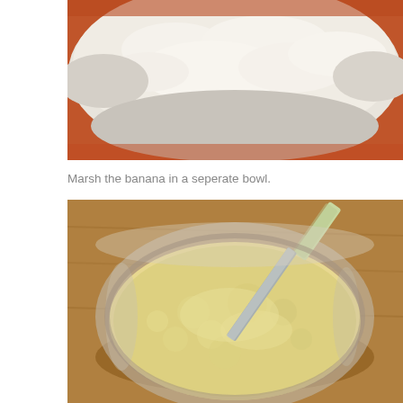[Figure (photo): Close-up of white flour in a red/orange bowl, viewed from above, showing the fine powder texture of the flour]
Marsh the banana in a seperate bowl.
[Figure (photo): A glass bowl containing mashed banana with a knife or spatula resting in the bowl, sitting on a wooden surface. The mashed banana has a pale yellow, lumpy texture.]